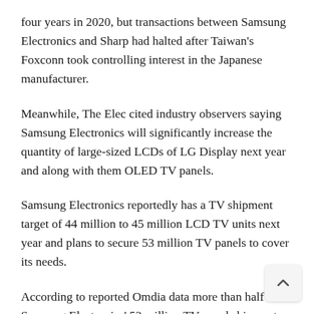four years in 2020, but transactions between Samsung Electronics and Sharp had halted after Taiwan's Foxconn took controlling interest in the Japanese manufacturer.
Meanwhile, The Elec cited industry observers saying Samsung Electronics will significantly increase the quantity of large-sized LCDs of LG Display next year and along with them OLED TV panels.
Samsung Electronics reportedly has a TV shipment target of 44 million to 45 million LCD TV units next year and plans to secure 53 million TV panels to cover its needs.
According to reported Omdia data more than half of Samsung Electronics' 53 million TV panel shipments next year will be supplied by Chinese companies such as CS and BOE, while LG Display is expected to account for 2%